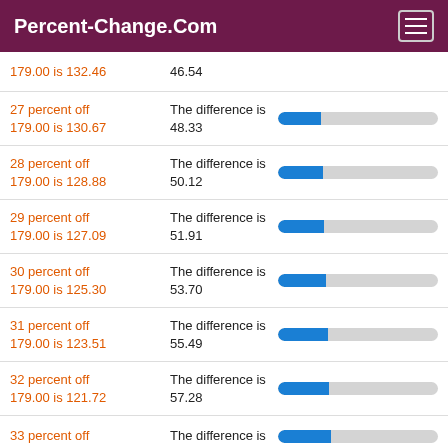Percent-Change.Com
179.00 is 132.46 — 46.54
27 percent off 179.00 is 130.67 — The difference is 48.33
28 percent off 179.00 is 128.88 — The difference is 50.12
29 percent off 179.00 is 127.09 — The difference is 51.91
30 percent off 179.00 is 125.30 — The difference is 53.70
31 percent off 179.00 is 123.51 — The difference is 55.49
32 percent off 179.00 is 121.72 — The difference is 57.28
33 percent off — The difference is